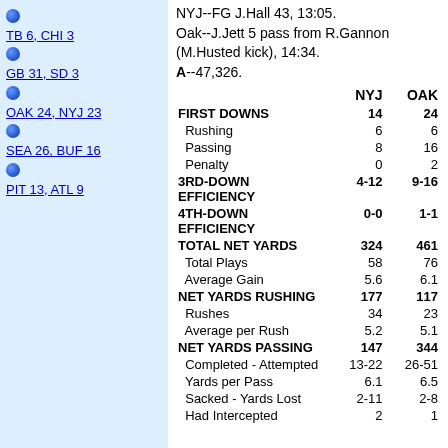TB 6, CHI 3
GB 31, SD 3
OAK 24, NYJ 23
SEA 26, BUF 16
PIT 13, ATL 9
NYJ--FG J.Hall 43, 13:05. Oak--J.Jett 5 pass from R.Gannon (M.Husted kick), 14:34. A--47,326.
|  | NYJ | OAK |
| --- | --- | --- |
| FIRST DOWNS | 14 | 24 |
| Rushing | 6 | 6 |
| Passing | 8 | 16 |
| Penalty | 0 | 2 |
| 3RD-DOWN EFFICIENCY | 4-12 | 9-16 |
| 4TH-DOWN EFFICIENCY | 0-0 | 1-1 |
| TOTAL NET YARDS | 324 | 461 |
| Total Plays | 58 | 76 |
| Average Gain | 5.6 | 6.1 |
| NET YARDS RUSHING | 177 | 117 |
| Rushes | 34 | 23 |
| Average per Rush | 5.2 | 5.1 |
| NET YARDS PASSING | 147 | 344 |
| Completed - Attempted | 13-22 | 26-51 |
| Yards per Pass | 6.1 | 6.5 |
| Sacked - Yards Lost | 2-11 | 2-8 |
| Had Intercepted | 2 | 1 |